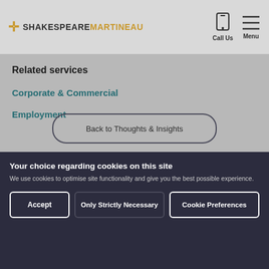SHAKESPEAREMARTINEAU — Call Us | Menu
Related services
Corporate & Commercial
Employment
Back to Thoughts & Insights
Your choice regarding cookies on this site
We use cookies to optimise site functionality and give you the best possible experience.
Accept | Only Strictly Necessary | Cookie Preferences